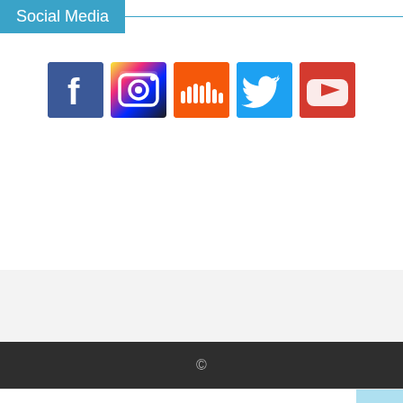Social Media
[Figure (illustration): Row of five social media icons: Facebook (blue), Instagram (photo-style), SoundCloud (orange), Twitter (blue), YouTube (red)]
©
English